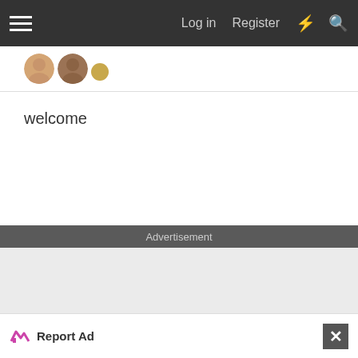Log in  Register
[Figure (screenshot): User avatar images - two profile photos and a small gold circle icon]
welcome
Advertisement
[Figure (other): Advertisement placeholder area - empty light gray box]
Report Ad